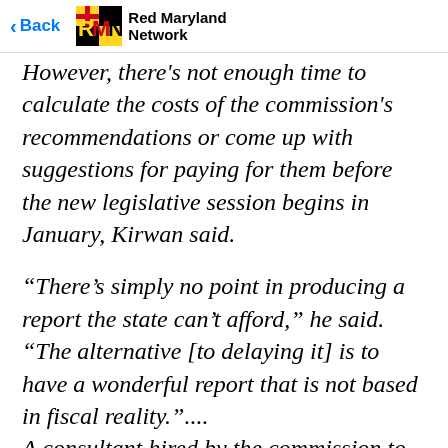Back | RMN Red Maryland Network
However, there's not enough time to calculate the costs of the commission's recommendations or come up with suggestions for paying for them before the new legislative session begins in January, Kirwan said.
“There’s simply no point in producing a report the state can’t afford,” he said. “The alternative [to delaying it] is to have a wonderful report that is not based in fiscal reality.”....
A consultant hired by the commission to review the current funding formula, known as the Thornton formula, determined that